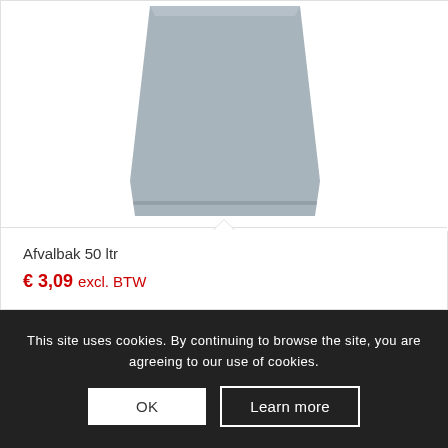[Figure (photo): Product image of a grey waste bin (Afvalbak 50 ltr), showing the lower portion of the bin with a tapered rectangular shape and a base detail.]
Afvalbak 50 ltr
€ 3,09 excl. BTW
This site uses cookies. By continuing to browse the site, you are agreeing to our use of cookies.
OK
Learn more